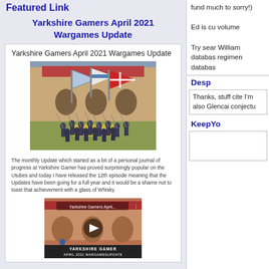Featured Link
Yarkshire Gamers April 2021 Wargames Update
[Figure (photo): Photo of painted wargame miniatures soldiers with flags on a terrain board]
The monthly Update which started as a bit of a personal journal of progress at Yarkshire Gamer has proved surprisingly popular on the Utubes and today I have released the 12th episode meaning that the Updates have been going for a full year and it would be a shame not to toast that achievement with a glass of Whisky.
[Figure (screenshot): Video thumbnail for Yarkshire Gamers April... with play button, showing YARKSHIRE GAMER APRIL 2021 WARGAMESUPDATE text]
fund much to sorry!)
Ed is cu volume
Try sear William databas regimen databas
Desp
Thanks, stuff cite I'm also Glencai conjectu
KeepYo